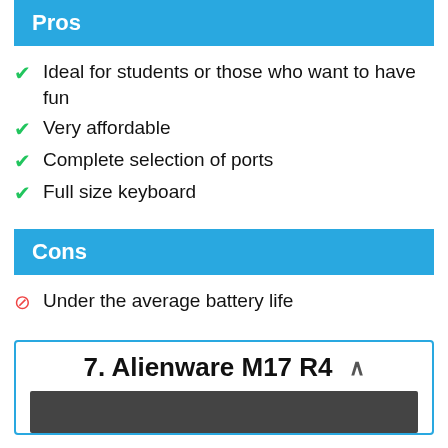Pros
Ideal for students or those who want to have fun
Very affordable
Complete selection of ports
Full size keyboard
Cons
Under the average battery life
7. Alienware M17 R4